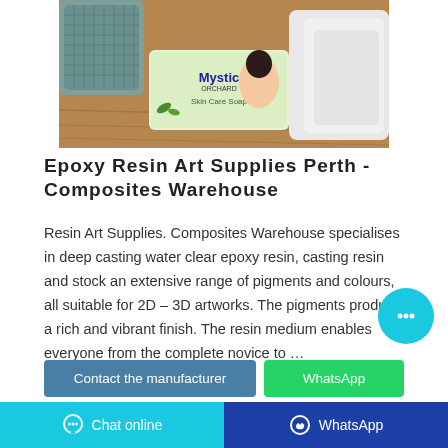[Figure (photo): A bar of Mystic Orchard Skin Care Soap on a wooden surface, with a woman's face on packaging, surrounded by white towels and a woven basket]
Epoxy Resin Art Supplies Perth - Composites Warehouse
Resin Art Supplies. Composites Warehouse specialises in deep casting water clear epoxy resin, casting resin and stock an extensive range of pigments and colours, all suitable for 2D – 3D artworks. The pigments produce a rich and vibrant finish. The resin medium enables everyone from the complete novice to …
Contact the manufacturer
WhatsApp
Chat online   WhatsApp